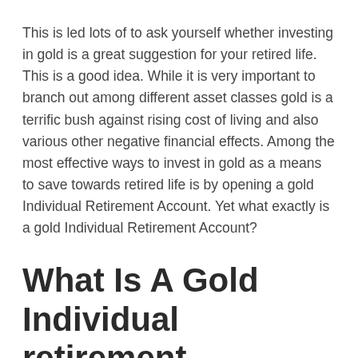This is led lots of to ask yourself whether investing in gold is a great suggestion for your retired life. This is a good idea. While it is very important to branch out among different asset classes gold is a terrific bush against rising cost of living and also various other negative financial effects. Among the most effective ways to invest in gold as a means to save towards retired life is by opening a gold Individual Retirement Account. Yet what exactly is a gold Individual Retirement Account?
What Is A Gold Individual retirement account?